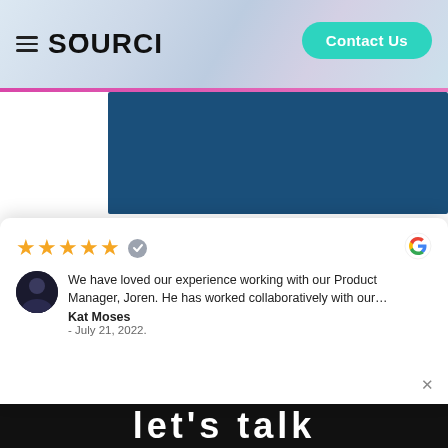SOURCI — Contact Us
[Figure (photo): Dark blue banner image in the background]
Posted on Dec 21, 2021
11 Benefits of Using Manufacturers in India
Giovanni Pino
★★★★★  We have loved our experience working with our Product Manager, Joren. He has worked collaboratively with our... Kat Moses - July 21, 2022.
let's talk